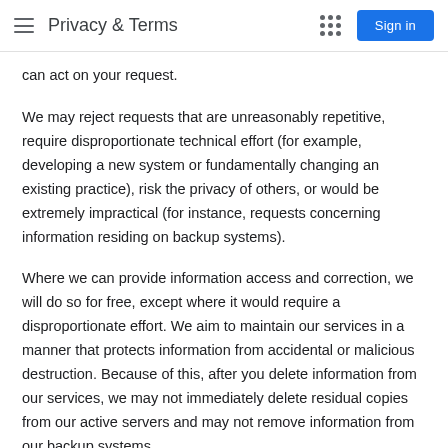Privacy & Terms
can act on your request.
We may reject requests that are unreasonably repetitive, require disproportionate technical effort (for example, developing a new system or fundamentally changing an existing practice), risk the privacy of others, or would be extremely impractical (for instance, requests concerning information residing on backup systems).
Where we can provide information access and correction, we will do so for free, except where it would require a disproportionate effort. We aim to maintain our services in a manner that protects information from accidental or malicious destruction. Because of this, after you delete information from our services, we may not immediately delete residual copies from our active servers and may not remove information from our backup systems.